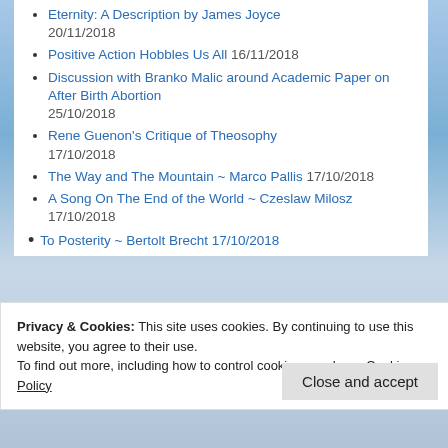Eternity: A Description by James Joyce 20/11/2018
Positive Action Hobbles Us All 16/11/2018
Discussion with Branko Malic around Academic Paper on After Birth Abortion 25/10/2018
Rene Guenon’s Critique of Theosophy 17/10/2018
The Way and The Mountain ~ Marco Pallis 17/10/2018
A Song On The End of the World ~ Czeslaw Milosz 17/10/2018
To Posterity ~ Bertolt Brecht 17/10/2018
Privacy & Cookies: This site uses cookies. By continuing to use this website, you agree to their use. To find out more, including how to control cookies, see here: Cookie Policy